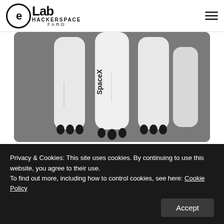eLab HACKERSPACE FARO
[Figure (photo): Close-up photo of a 3D printed SpaceX Falcon Heavy rocket model showing three white booster rockets with black engine nozzles and SpaceX text visible on the side, set against a grey background]
PROJECTS
SpaceX Falcon Heavy 3D Printed
Around a year ago, after SpaceX Falcon Heavy first test
Privacy & Cookies: This site uses cookies. By continuing to use this website, you agree to their use.
To find out more, including how to control cookies, see here: Cookie Policy
Accept